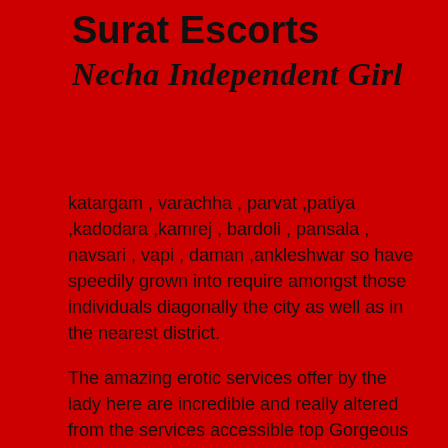Surat Escorts
Necha Independent Girl
katargam , varachha , parvat ,patiya ,kadodara ,kamrej , bardoli , pansala , navsari , vapi , daman ,ankleshwar so have speedily grown into require amongst those individuals diagonally the city as well as in the nearest district.
The amazing erotic services offer by the lady here are incredible and really altered from the services accessible top Gorgeous hi profile escorts in other city. They carry a quantity of brilliant issue that are very attractive. Men wish for woman hi profile Okha Call Girls colleague ought positively benefit erotic Okha call girl services for the brilliant familiarity.